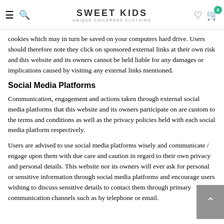SWEET KIDS — UNIQUE CHILDRENS CLOTHING
cookies which may in turn be saved on your computers hard drive. Users should therefore note they click on sponsored external links at their own risk and this website and its owners cannot be held liable for any damages or implications caused by visiting any external links mentioned.
Social Media Platforms
Communication, engagement and actions taken through external social media platforms that this website and its owners participate on are custom to the terms and conditions as well as the privacy policies held with each social media platform respectively.
Users are advised to use social media platforms wisely and communicate / engage upon them with due care and caution in regard to their own privacy and personal details. This website nor its owners will ever ask for personal or sensitive information through social media platforms and encourage users wishing to discuss sensitive details to contact them through primary communication channels such as by telephone or email.